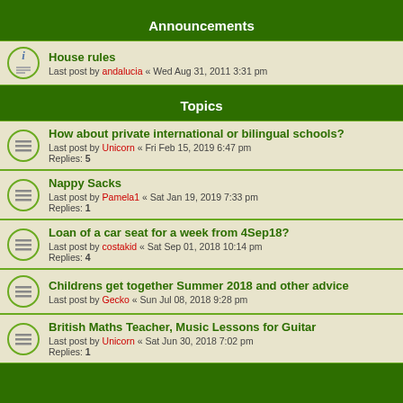Announcements
House rules — Last post by andalucia « Wed Aug 31, 2011 3:31 pm
Topics
How about private international or bilingual schools? — Last post by Unicorn « Fri Feb 15, 2019 6:47 pm — Replies: 5
Nappy Sacks — Last post by Pamela1 « Sat Jan 19, 2019 7:33 pm — Replies: 1
Loan of a car seat for a week from 4Sep18? — Last post by costakid « Sat Sep 01, 2018 10:14 pm — Replies: 4
Childrens get together Summer 2018 and other advice — Last post by Gecko « Sun Jul 08, 2018 9:28 pm
British Maths Teacher, Music Lessons for Guitar — Last post by Unicorn « Sat Jun 30, 2018 7:02 pm — Replies: 1